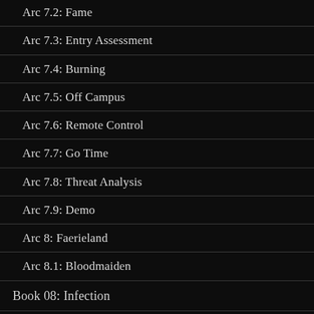Arc 7.2: Fame
Arc 7.3: Entry Assessment
Arc 7.4: Burning
Arc 7.5: Off Campus
Arc 7.6: Remote Control
Arc 7.7: Go Time
Arc 7.8: Threat Analysis
Arc 7.9: Demo
Arc 8: Faerieland
Arc 8.1: Bloodmaiden
Book 08: Infection
Arc 8. 2: Super Social
Arc 8.2.5: Hackjob